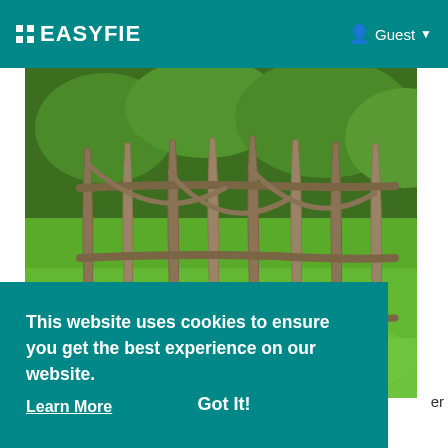EASYFIE | Guest
[Figure (photo): A rustic wooden fence made of natural branches and sticks, set against a lush green garden background with trees and grass.]
This website uses cookies to ensure you get the best experience on our website. Learn More
Got It!
specializes as a Fencing Company in Springfield.